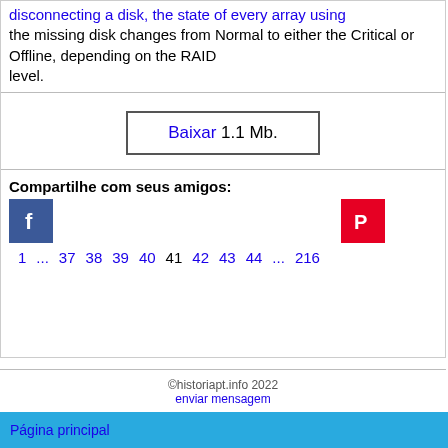disconnecting a disk, the state of every array using the missing disk changes from Normal to either the Critical or Offline, depending on the RAID level.
Baixar 1.1 Mb.
Compartilhe com seus amigos:
[Figure (logo): Facebook logo icon (white f on blue background)]
[Figure (logo): Pinterest logo icon (white P on red background)]
1 ... 37 38 39 40 41 42 43 44 ... 216
©historiapt.info 2022
enviar mensagem
Página principal